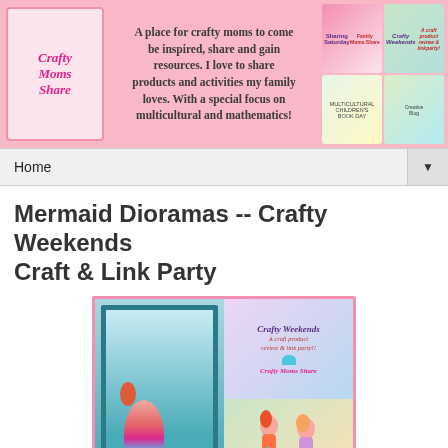[Figure (screenshot): Crafty Moms Share blog header banner with logo, tagline text, and collage of blog post images]
Home ▼
Mermaid Dioramas -- Crafty Weekends Craft & Link Party
[Figure (photo): Composite image showing a mermaid diorama craft project and the Crafty Weekends link party badge with two mermaids at the bottom]